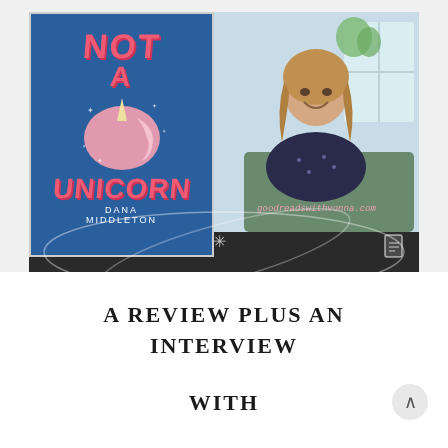[Figure (screenshot): Composite image showing the book cover of 'Not a Unicorn' by Dana Middleton (blue cover with pink unicorn head and title in pink letters) on the left, and a photo of a smiling woman with brown hair in a dark floral dress on the right. The website 'goodreadswithvonna.com' is displayed in pink text at the bottom right. The background has orbital ring decorations.]
A REVIEW PLUS AN INTERVIEW
WITH